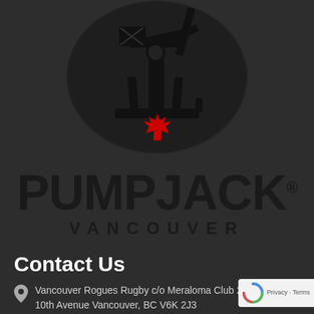[Figure (logo): Pumpjack Vancouver logo — circular emblem with black pumpjack machinery silhouette and a red maple leaf, above bold 'PUMPJACK' text and spaced 'VANCOUVER' subtitle on dark background]
Contact Us
Vancouver Rogues Rugby c/o Meraloma Club 2390 10th Avenue Vancouver, BC V6K 2J3